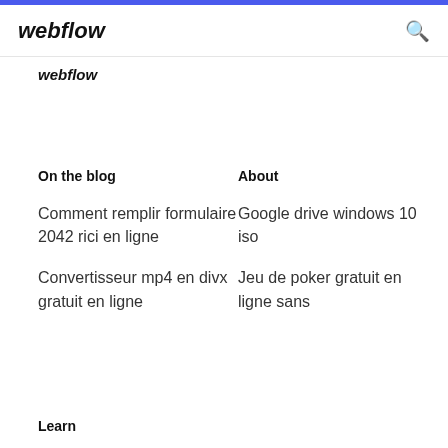webflow
webflow
On the blog
About
Comment remplir formulaire 2042 rici en ligne
Convertisseur mp4 en divx gratuit en ligne
Google drive windows 10 iso
Jeu de poker gratuit en ligne sans
Learn